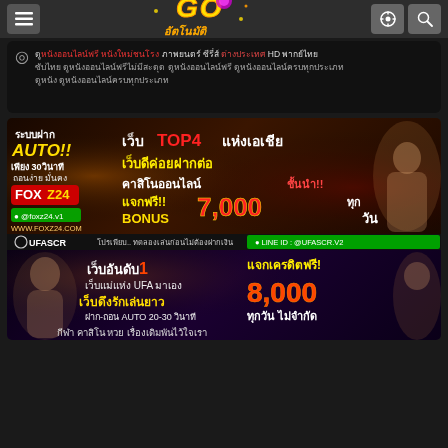Navigation header with menu button, logo (GO อัตโนมัติ), settings and search icons
◎ ดูหนังออนไลน์ฟรี หนังใหม่ชนโรง ภาพยนตร์ ซีรี่ส์ ต่างประเทศ HD พากย์ไทย ซับไทย ดูหนังออนไลน์ฟรีไม่มีสะดุด ดูหนังออนไลน์ฟรี ดูหนังออนไลน์ครบทุกประเภท
[Figure (photo): FOXZ24 casino banner - ระบบฝาก AUTO!! เพียง 30วินาที ถอนง่าย มั่นคง เว็บ TOP4 แห่งเอเชีย เว็บดีค่อยฝากต่อ คาสิโนออนไลน์ ชั้นนำ!! แจกฟรี!! BONUS 7,000 ทุกวัน @foxz24.v1 www.foxz24.com]
[Figure (photo): UFASCR casino banner - โปรเพียบ ทดลองเล่นก่อนไม่ต้องฝากเงิน LINE ID: @UFASCR.V2 เว็บอันดับ1 เว็บแม่แห่ง UFA มาเอง เว็บดึงรักเล่นยาว ฝาก-ถอน AUTO 20-30 วินาที แจกเครดิตฟรี! 8,000 ทุกวัน ไม่จำกัด กีฬา คาสิโน หวย เรื่องเดิมพันไว้ใจเรา]